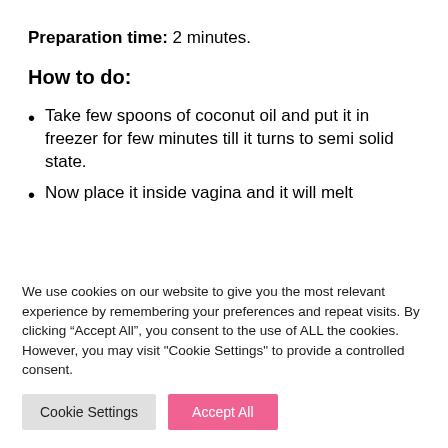Preparation time: 2 minutes.
How to do:
Take few spoons of coconut oil and put it in freezer for few minutes till it turns to semi solid state.
Now place it inside vagina and it will melt
We use cookies on our website to give you the most relevant experience by remembering your preferences and repeat visits. By clicking “Accept All”, you consent to the use of ALL the cookies. However, you may visit "Cookie Settings" to provide a controlled consent.